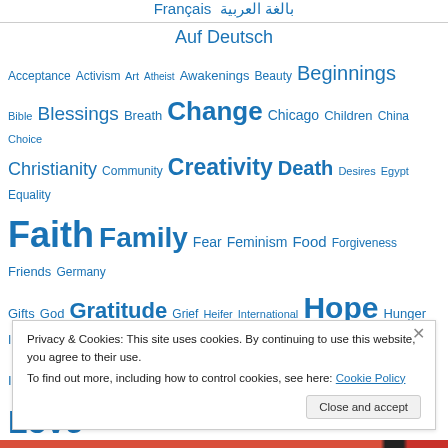Français بالغة العربية
Auf Deutsch
Acceptance Activism Art Atheist Awakenings Beauty Beginnings Bible Blessings Breath Change Chicago Children China Choice Christianity Community Creativity Death Desires Egypt Equality Faith Family Fear Feminism Food Forgiveness Friends Germany Gifts God Gratitude Grief Heifer International Hope Hunger India Inspiration Islam Journey Justice LGBTQ Life Loss Love Musings ... Photography
Privacy & Cookies: This site uses cookies. By continuing to use this website, you agree to their use. To find out more, including how to control cookies, see here: Cookie Policy
Close and accept